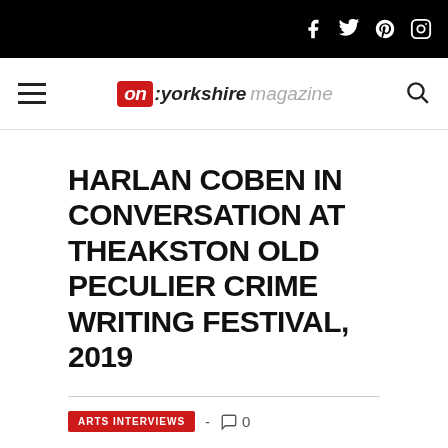on:yorkshire magazine
HARLAN COBEN IN CONVERSATION AT THEAKSTON OLD PECULIER CRIME WRITING FESTIVAL, 2019
ARTS INTERVIEWS - 0